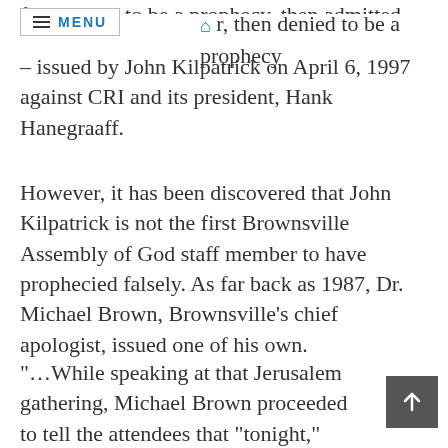first denied to be a prophecy, then admitted
r, then denied to be a prophecy – issued by John Kilpatrick on April 6, 1997 against CRI and its president, Hank Hanegraaff.
However, it has been discovered that John Kilpatrick is not the first Brownsville Assembly of God staff member to have prophecied falsely. As far back as 1987, Dr. Michael Brown, Brownsville's chief apologist, issued one of his own.
"…While speaking at that Jerusalem gathering, Michael Brown proceeded to tell the attendees that "tonight," that night, would be a "history-making" night in a such